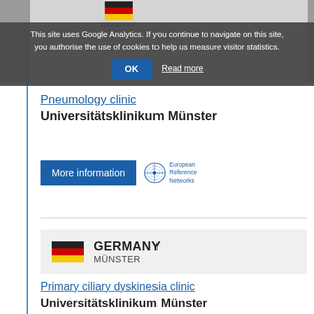This site uses Google Analytics. If you continue to navigate on this site, you authorise the use of cookies to help us measure visitor statistics.
OK  Read more
[Figure (logo): Germany flag with GERMANY / MÜNSTER text (partially visible at top)]
Pneumology clinic
Universitätsklinikum Münster
More information
[Figure (logo): European Reference Networks logo with circular dotted globe icon]
[Figure (infographic): Germany flag with GERMANY / MÜNSTER text in gray background card]
Primary ciliary dyskinesia clinic
Universitätsklinikum Münster